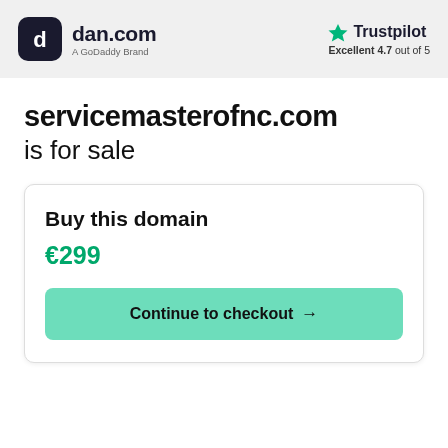[Figure (logo): dan.com logo with dark rounded square icon and text 'dan.com' with subtitle 'A GoDaddy Brand']
[Figure (logo): Trustpilot logo with green star and text 'Trustpilot' and 'Excellent 4.7 out of 5']
servicemasterofnc.com is for sale
Buy this domain
€299
Continue to checkout →